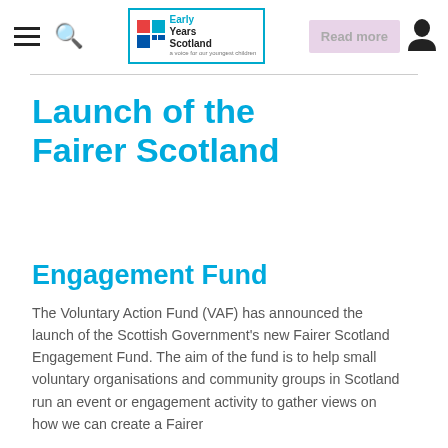Early Years Scotland | Read more
Launch of the Fairer Scotland
Engagement Fund
The Voluntary Action Fund (VAF) has announced the launch of the Scottish Government's new Fairer Scotland Engagement Fund. The aim of the fund is to help small voluntary organisations and community groups in Scotland run an event or engagement activity to gather views on how we can create a Fairer